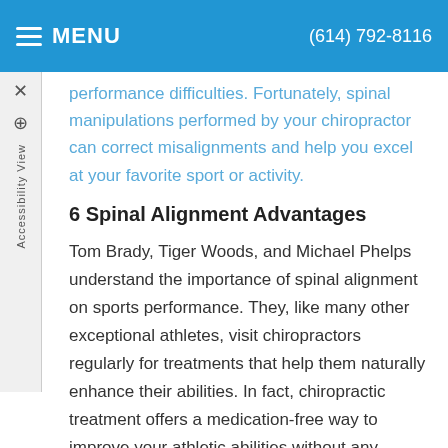MENU  (614) 792-8116
performance difficulties. Fortunately, spinal manipulations performed by your chiropractor can correct misalignments and help you excel at your favorite sport or activity.
6 Spinal Alignment Advantages
Tom Brady, Tiger Woods, and Michael Phelps understand the importance of spinal alignment on sports performance. They, like many other exceptional athletes, visit chiropractors regularly for treatments that help them naturally enhance their abilities. In fact, chiropractic treatment offers a medication-free way to improve your athletic abilities without any concerns about side effects.
When your spine is properly aligned, the benefits